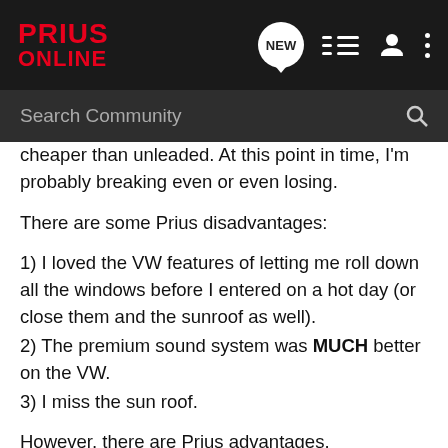[Figure (screenshot): Prius Online forum website header with logo and navigation icons]
[Figure (screenshot): Search Community search bar on dark background]
cheaper than unleaded. At this point in time, I'm probably breaking even or even losing.
There are some Prius disadvantages:
1) I loved the VW features of letting me roll down all the windows before I entered on a hot day (or close them and the sunroof as well).
2) The premium sound system was MUCH better on the VW.
3) I miss the sun roof.
However, there are Prius advantages.
1) Quiet.
2) Smell (diesel is really a smelly fuel).
3) Performance (not picking up on a review).